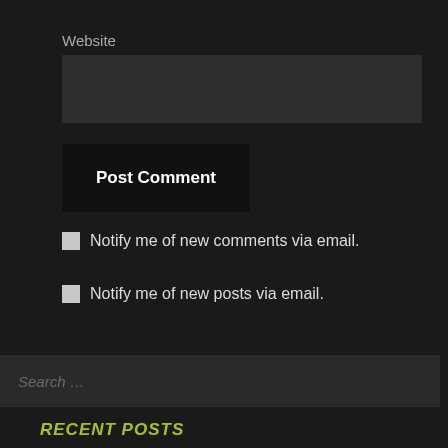Website
Post Comment
Notify me of new comments via email.
Notify me of new posts via email.
Search ...
RECENT POSTS